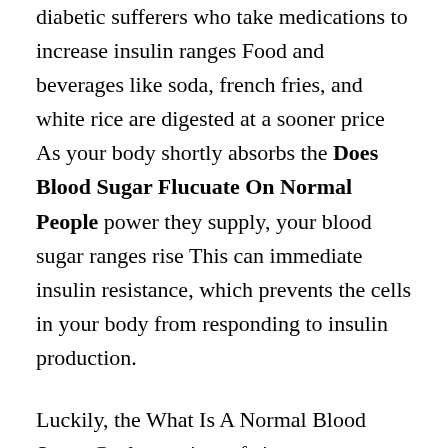diabetic sufferers who take medications to increase insulin ranges Food and beverages like soda, french fries, and white rice are digested at a sooner price As your body shortly absorbs the Does Blood Sugar Flucuate On Normal People power they supply, your blood sugar ranges rise This can immediate insulin resistance, which prevents the cells in your body from responding to insulin production.
Luckily, the What Is A Normal Blood Sugar Ceylon variety of cinnamon contains much less coumarin Most of the supplements we reviewed comprise Ceylon cinnamon for this reason Of course, similar to any treatment, some dietary supplements may work wonders for you, while others may not work at